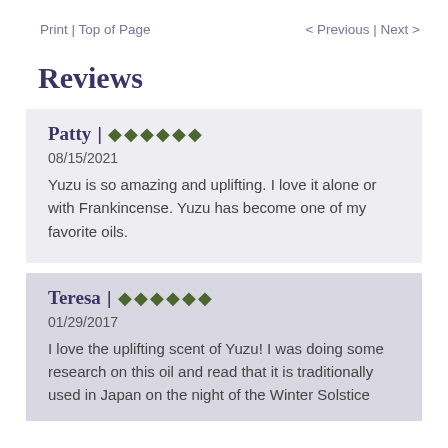Print | Top of Page   < Previous | Next >
Reviews
Patty | ♦♦♦♦♦♦
08/15/2021
Yuzu is so amazing and uplifting. I love it alone or with Frankincense. Yuzu has become one of my favorite oils.
Teresa | ♦♦♦♦♦♦
01/29/2017
I love the uplifting scent of Yuzu! I was doing some research on this oil and read that it is traditionally used in Japan on the night of the Winter Solstice